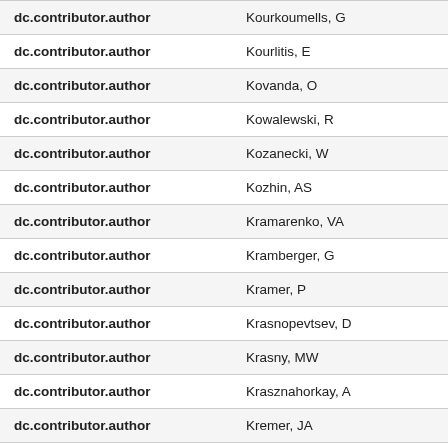| Field | Value |
| --- | --- |
| dc.contributor.author | Kourkoumells, G |
| dc.contributor.author | Kourlitis, E |
| dc.contributor.author | Kovanda, O |
| dc.contributor.author | Kowalewski, R |
| dc.contributor.author | Kozanecki, W |
| dc.contributor.author | Kozhin, AS |
| dc.contributor.author | Kramarenko, VA |
| dc.contributor.author | Kramberger, G |
| dc.contributor.author | Kramer, P |
| dc.contributor.author | Krasnopevtsev, D |
| dc.contributor.author | Krasny, MW |
| dc.contributor.author | Krasznahorkay, A |
| dc.contributor.author | Kremer, JA |
| dc.contributor.author | Kretzschmar, J |